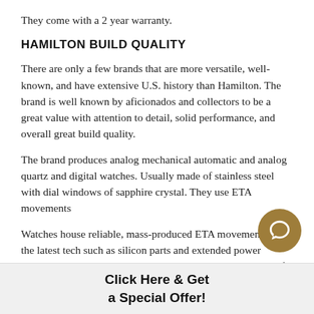They come with a 2 year warranty.
HAMILTON BUILD QUALITY
There are only a few brands that are more versatile, well-known, and have extensive U.S. history than Hamilton. The brand is well known by aficionados and collectors to be a great value with attention to detail, solid performance, and overall great build quality.
The brand produces analog mechanical automatic and analog quartz and digital watches. Usually made of stainless steel with dial windows of sapphire crystal. They use ETA movements
Watches house reliable, mass-produced ETA movements with the latest tech such as silicon parts and extended power reserves with premium sapphire crystal. With a vast range of models, wide variety of dial colors, many strap materials in multiple colors.
Water resistant between 30 to 100 meters.
Click Here & Get a Special Offer!